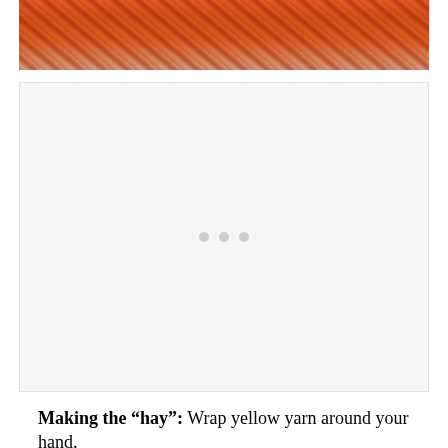[Figure (photo): Close-up photo of orange yarn or rubber bands tangled together, partially visible at top of page]
[Figure (photo): A large mostly white/blank image placeholder with three light grey dots in the center, suggesting a loading or embedded image area]
Making the "hay": Wrap yellow yarn around your hand.